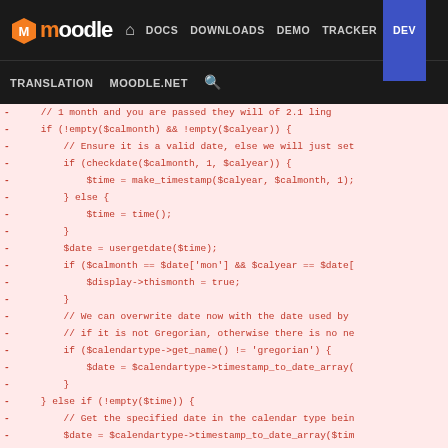moodle | DOCS DOWNLOADS DEMO TRACKER DEV | TRANSLATION MOODLE.NET Search
[Figure (screenshot): Moodle developer site navigation bar showing logo, nav links (DOCS, DOWNLOADS, DEMO, TRACKER, DEV highlighted in blue), and secondary nav (TRANSLATION, MOODLE.NET, search icon)]
Code diff showing removed lines (prefixed with -) of PHP code related to calendar date handling. Lines include: if (!empty($calmonth) && !empty($calyear)) {, // Ensure it is a valid date else we will just set, if (checkdate($calmonth, 1, $calyear)) {, $time = make_timestamp($calyear, $calmonth, 1);, } else {, $time = time();, }, $date = usergetdate($time);, if ($calmonth == $date['mon'] && $calyear == $date[, $display->thismonth = true;, }, // We can overwrite date now with the date used by, // if it is not Gregorian otherwise there is no ne, if ($calendartype->get_name() != 'gregorian') {, $date = $calendartype->timestamp_to_date_array(, }, } else if (!empty($time)) {, // Get the specified date in the calendar type bein, $date = $calendartype->timestamp_to_date_array($tim, $thisdate = $calendartype->timestamp_to_date_array(, if ($date['month'] == $thisdate['month'] && $date[, $display->thismonth = true;, // If we are the current month we want to set t, $date = $thisdate;, }, } else {